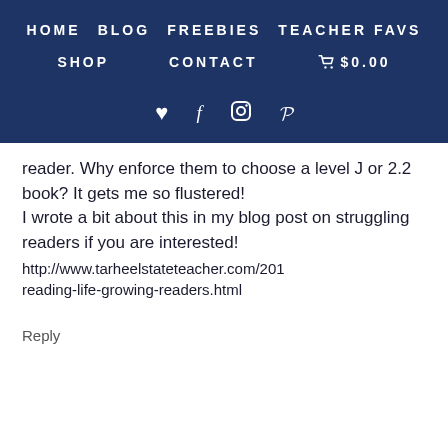HOME   BLOG   FREEBIES   TEACHER FAVS   SHOP   CONTACT   $0.00
reader. Why enforce them to choose a level J or 2.2 book? It gets me so flustered!
I wrote a bit about this in my blog post on struggling readers if you are interested!
http://www.tarheelstateteacher.com/201 reading-life-growing-readers.html
Reply